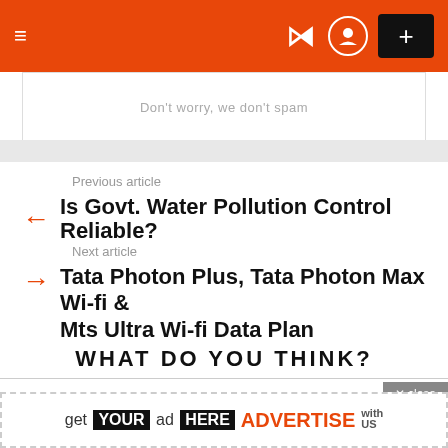≡  ) +
Don't worry, we don't spam
Previous article
Is Govt. Water Pollution Control Reliable?
Next article
Tata Photon Plus, Tata Photon Max Wi-fi & Mts Ultra Wi-fi Data Plan
WHAT DO YOU THINK?
× close
get YOUR ad HERE ADVERTISE with US